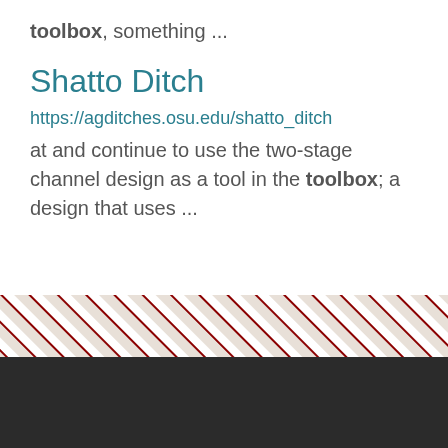toolbox, something ...
Shatto Ditch
https://agditches.osu.edu/shatto_ditch
at and continue to use the two-stage channel design as a tool in the toolbox; a design that uses ...
[Figure (illustration): Diagonal red and white striped decorative band]
THE OHIO STATE UNIVERSITY
© 2022, The Ohio State University